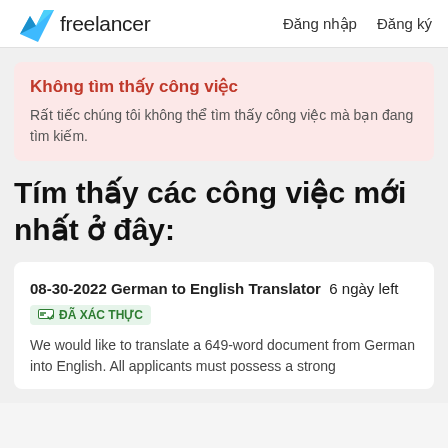Freelancer  Đăng nhập  Đăng ký
Không tìm thấy công việc
Rất tiếc chúng tôi không thể tìm thấy công việc mà bạn đang tìm kiếm.
Tìm thấy các công việc mới nhất ở đây:
08-30-2022 German to English Translator  6 ngày left  ĐÃ XÁC THỰC
We would like to translate a 649-word document from German into English. All applicants must possess a strong